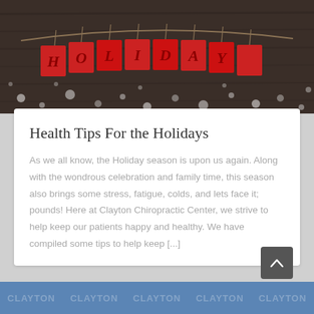[Figure (photo): Holiday banner with red cards spelling HOLIDAYS hanging on rope against dark wooden background with white bokeh lights]
Health Tips For the Holidays
As we all know, the Holiday season is upon us again. Along with the wondrous celebration and family time, this season also brings some stress, fatigue, colds, and lets face it; pounds! Here at Clayton Chiropractic Center, we strive to help keep our patients happy and healthy. We have compiled some tips to help keep [...]
CLAYTON CLAYTON CLAYTON CLAYTON CLAYTON